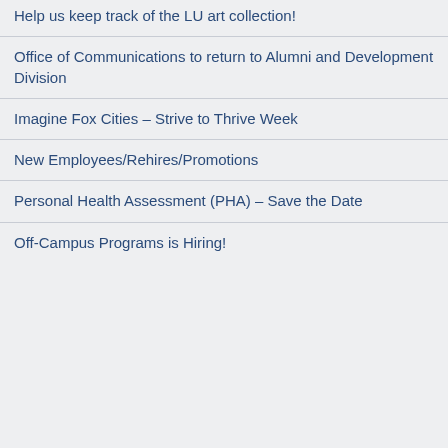Help us keep track of the LU art collection!
Office of Communications to return to Alumni and Development Division
Imagine Fox Cities – Strive to Thrive Week
New Employees/Rehires/Promotions
Personal Health Assessment (PHA) – Save the Date
Off-Campus Programs is Hiring!